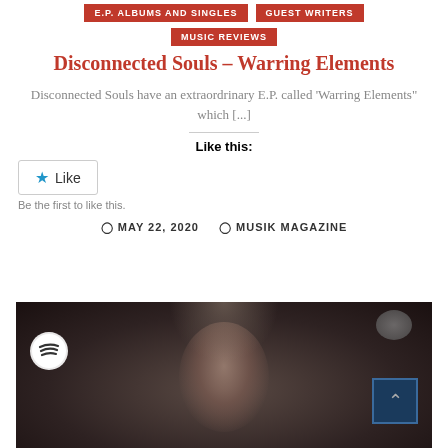E.P. ALBUMS AND SINGLES | GUEST WRITERS
MUSIC REVIEWS
Disconnected Souls – Warring Elements
Disconnected Souls have an extraordrinary E.P. called 'Warring Elements" which [...]
Like this:
Like
Be the first to like this.
MAY 22, 2020  MUSIK MAGAZINE
[Figure (photo): Dark moody portrait photo of a person with Spotify logo overlay and navigation arrow button]